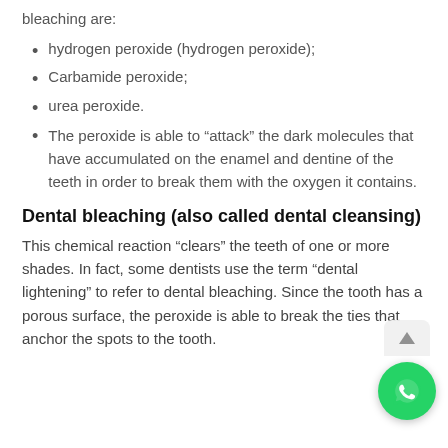bleaching are:
hydrogen peroxide (hydrogen peroxide);
Carbamide peroxide;
urea peroxide.
The peroxide is able to “attack” the dark molecules that have accumulated on the enamel and dentine of the teeth in order to break them with the oxygen it contains.
Dental bleaching (also called dental cleansing)
This chemical reaction “clears” the teeth of one or more shades. In fact, some dentists use the term “dental lightening” to refer to dental bleaching. Since the tooth has a porous surface, the peroxide is able to break the ties that anchor the spots to the tooth.